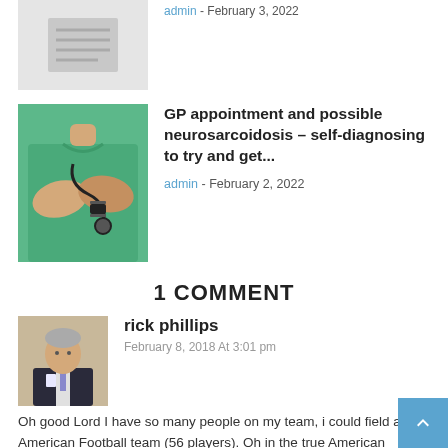[Figure (photo): Thumbnail placeholder image with document icon on grey background]
admin - February 3, 2022
[Figure (photo): Photo of a medical professional in green scrubs with stethoscope, arms crossed]
GP appointment and possible neurosarcoidosis – self-diagnosing to try and get...
admin - February 2, 2022
1 COMMENT
[Figure (photo): Avatar photo of rick phillips, a man in a dark suit]
rick phillips
February 8, 2018 At 3:01 pm
Oh good Lord I have so many people on my team, i could field an American Football team (56 players). Oh in the true American system I pay them to be on my team. You have to love America.
I used to say when I had to contact health care